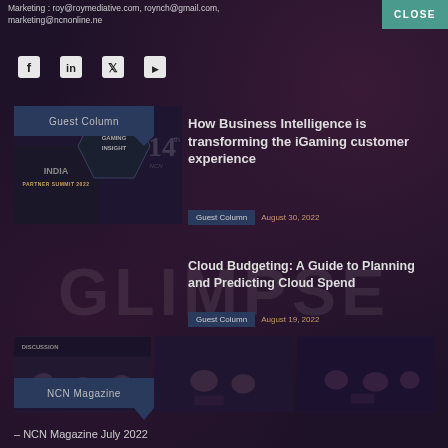Marketing : roy@roymediative.com, roynch@gmail.com, marketing@ncnonline.ne
CLOSE
[Figure (other): Social media icons: Facebook, LinkedIn, Twitter, YouTube]
[Figure (other): Guest Column badge (dark blue with speech bubble shape)]
[Figure (other): Article thumbnail image: India Partner Summit 2022 / Gaming Insight / NCN 14th logo composite]
How Business Intelligence is transforming the iGaming customer experience
Guest Column  August 30, 2022
GLIMPSE watermark text
Cloud Budgeting: A Guide to Planning and Predicting Cloud Spend
Guest Column  August 19, 2022
[Figure (photo): Three panel discussion / event photos side by side]
[Figure (other): NCN Magazine badge (dark blue with speech bubble shape)]
NCN Magazine July 2022